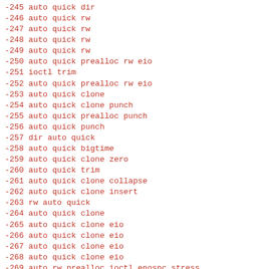-245 auto quick dir
-246 auto quick rw
-247 auto quick rw
-248 auto quick rw
-249 auto quick rw
-250 auto quick prealloc rw eio
-251 ioctl trim
-252 auto quick prealloc rw eio
-253 auto quick clone
-254 auto quick clone punch
-255 auto quick prealloc punch
-256 auto quick punch
-257 dir auto quick
-258 auto quick bigtime
-259 auto quick clone zero
-260 auto quick trim
-261 auto quick clone collapse
-262 auto quick clone insert
-263 rw auto quick
-264 auto quick clone
-265 auto quick clone eio
-266 auto quick clone eio
-267 auto quick clone eio
-268 auto quick clone eio
-269 auto rw prealloc ioctl enospc stress
-270 auto quota rw prealloc ioctl enospc stress
-271 auto quick clone eio
-272 auto quick clone eio
-273 auto rw
-274 auto rw prealloc enospc
-275 auto